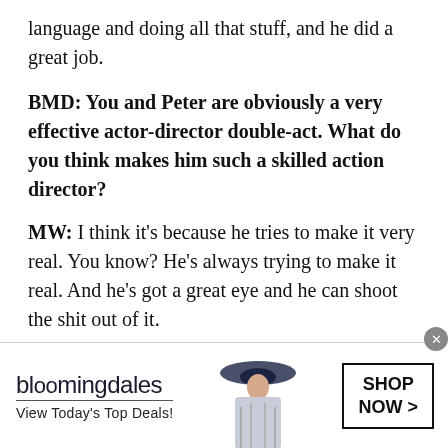language and doing all that stuff, and he did a great job.
BMD: You and Peter are obviously a very effective actor-director double-act. What do you think makes him such a skilled action director?
MW: I think it's because he tries to make it very real. You know? He's always trying to make it real. And he's got a great eye and he can shoot the shit out of it.
BMD: He talked about the drones you guys are using for Mile 22. Is this the most ambitious one
[Figure (other): Bloomingdale's advertisement banner with logo, tagline 'View Today's Top Deals!', model wearing a hat, and 'SHOP NOW >' button]